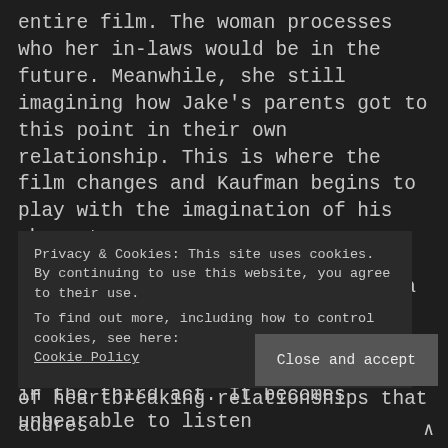entire film. The woman processes who her in-laws would be in the future. Meanwhile, she still imagining how Jake's parents got to this point in their own relationship. This is where the film changes and Kaufman begins to play with the imagination of his characters.
I'm Thinking Of Ending Things is a mixture of an existential crisis, relationship issues, and family dysfunction, that loses all meaning in the third act. It becomes unbearable to listen
Privacy & Cookies: This site uses cookies. By continuing to use this website, you agree to their use.
To find out more, including how to control cookies, see here:
Cookie Policy
Close and accept
of heartbreaking relationships that addres